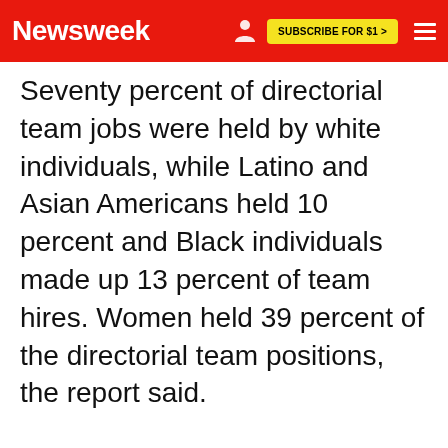Newsweek | SUBSCRIBE FOR $1 >
Seventy percent of directorial team jobs were held by white individuals, while Latino and Asian Americans held 10 percent and Black individuals made up 13 percent of team hires. Women held 39 percent of the directorial team positions, the report said.